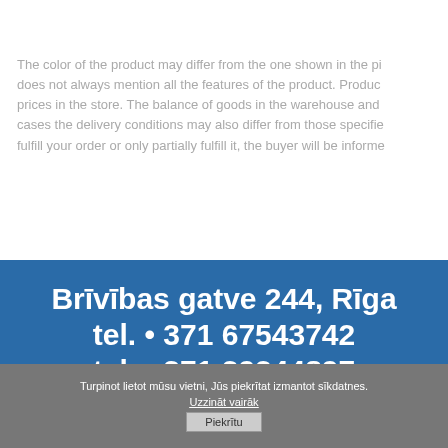The color of the product may differ from the one shown in the pi... does not always mention all the features of the product. Produc... prices in the store. The balance of goods in the warehouse and... cases the delivery conditions may also differ from those specifie... fulfill your order or only partially fulfill it, the buyer will be informe...
Brīvības gatve 244, Rīga
tel. • 371 67543742
tel. • 371 29244897
Turpinot lietot mūsu vietni, Jūs piekrītat izmantot sīkdatnes.
Uzzināt vairāk
Piekrītu